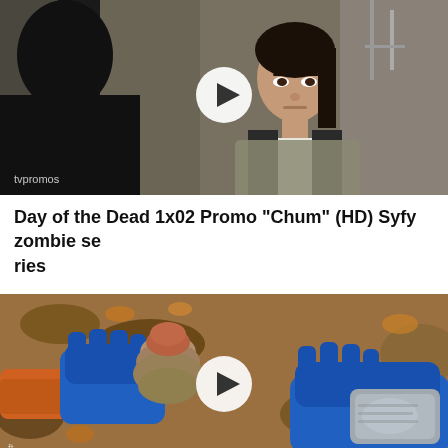[Figure (screenshot): Video thumbnail showing two people in a scene from Day of the Dead TV show, with a play button overlay and 'tvpromos' watermark in the bottom left]
Day of the Dead 1x02 Promo "Chum" (HD) Syfy zombie series
[Figure (screenshot): Video thumbnail showing hands wearing blue work gloves holding ancient artifacts/coins being excavated from dirt, with a play button overlay]